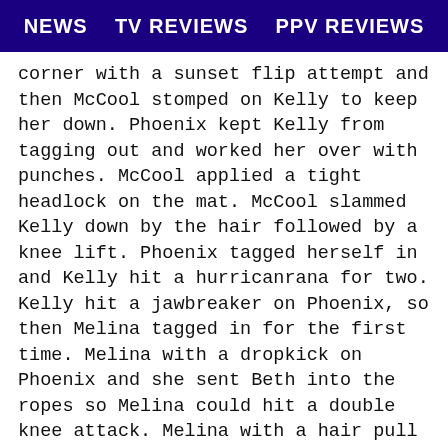NEWS   TV REVIEWS   PPV REVIEWS
corner with a sunset flip attempt and then McCool stomped on Kelly to keep her down. Phoenix kept Kelly from tagging out and worked her over with punches. McCool applied a tight headlock on the mat. McCool slammed Kelly down by the hair followed by a knee lift. Phoenix tagged herself in and Kelly hit a hurricanrana for two. Kelly hit a jawbreaker on Phoenix, so then Melina tagged in for the first time. Melina with a dropkick on Phoenix and she sent Beth into the ropes so Melina could hit a double knee attack. Melina with a hair pull sent Phoenix into the mat. Phoenix got a two count after McCool flipped Phoenix on top of Melina. Good spot by Melina floating over Beth's shoulders and sending her into the mat. All of the women got sent out of the ring, so then it was Beth and Melina left in the ring. Beth tried to send Melina into the turnbuckle